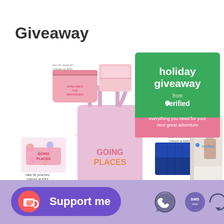Giveaway
[Figure (photo): Holiday giveaway promotional image from Unverified showing pink travel accessories (ban.do dopp kit, pouches, tote bag) and a blue travel wallet alongside a book, with a green and pink graphic card reading 'holiday giveaway from unverified - everything you need for your next great adventure']
[Figure (infographic): Bottom app navigation bar with purple/lavender background showing a 'Support me' button (purple rounded with heart/coffee cup icon), and social share icons: WhatsApp, SMS, and a circular arrow/refresh icon]